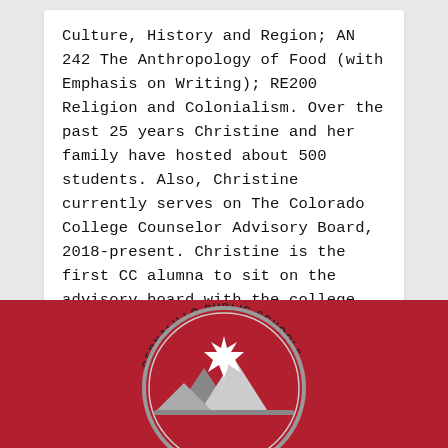Culture, History and Region; AN 242 The Anthropology of Food (with Emphasis on Writing); RE200 Religion and Colonialism. Over the past 25 years Christine and her family have hosted about 500 students. Also, Christine currently serves on The Colorado College Counselor Advisory Board, 2018-present. Christine is the first CC alumna to sit on the advisory board with the college admissions office.
[Figure (logo): Bernalillo Public Schools circular logo/seal with white sun/star and mountain shapes on a red background, silver border, text reading BERNALILLO PUBLIC SCHOOLS around the top arc and SCHOOLS around the bottom, displayed on a dark red background band.]